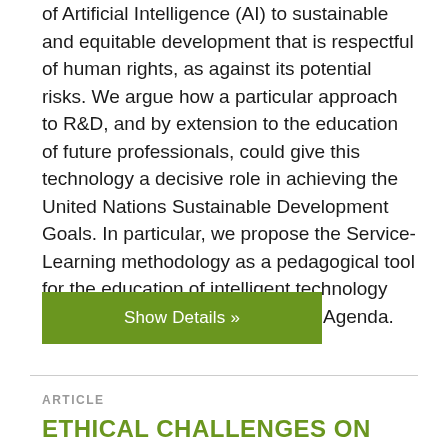of Artificial Intelligence (AI) to sustainable and equitable development that is respectful of human rights, as against its potential risks. We argue how a particular approach to R&D, and by extension to the education of future professionals, could give this technology a decisive role in achieving the United Nations Sustainable Development Goals. In particular, we propose the Service-Learning methodology as a pedagogical tool for the education of intelligent technology engineers committed to the 2030 Agenda.
Show Details »
ARTICLE
ETHICAL CHALLENGES ON